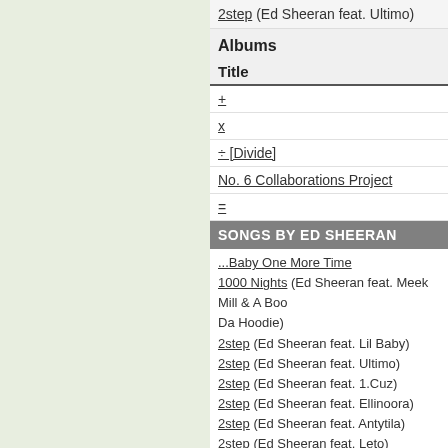2step (Ed Sheeran feat. Ultimo)
Albums
Title
+
x
÷ [Divide]
No. 6 Collaborations Project
=
SONGS BY ED SHEERAN
...Baby One More Time
1000 Nights (Ed Sheeran feat. Meek Mill & A Boogie Da Hoodie)
2step (Ed Sheeran feat. Lil Baby)
2step (Ed Sheeran feat. Ultimo)
2step (Ed Sheeran feat. 1.Cuz)
2step (Ed Sheeran feat. Ellinoora)
2step (Ed Sheeran feat. Antytila)
2step (Ed Sheeran feat. Leto)
2step
Afire Love
AFTE
Afterglow
All About It (Hoodie Allen feat. Ed Sheeran)
All Falls Down (Alonestar feat. Ed Sheeran, Rosie Ribbons)
All Of The Stars
Amo soltanto te (Andrea Bocelli feat. Ed Sheeran)
Antisocial (Ed Sheeran with Travis Scott)
Are You Entertained (Russ & Ed Sheeran)
Atlantic City
Autumn Leaves